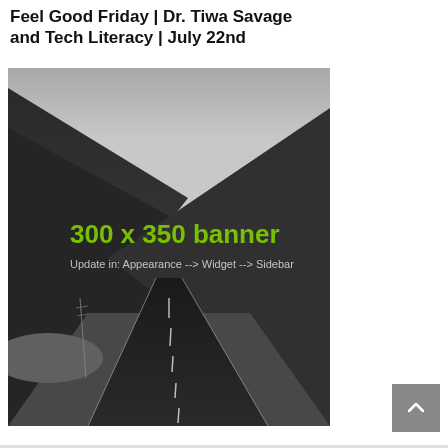Feel Good Friday | Dr. Tiwa Savage and Tech Literacy | July 22nd
[Figure (photo): Black and white landscape photo of a road winding through mountains, with green text overlay reading '300 x 350 banner' and subtitle 'Update in: Appearance --> Widget --> Sidebar']